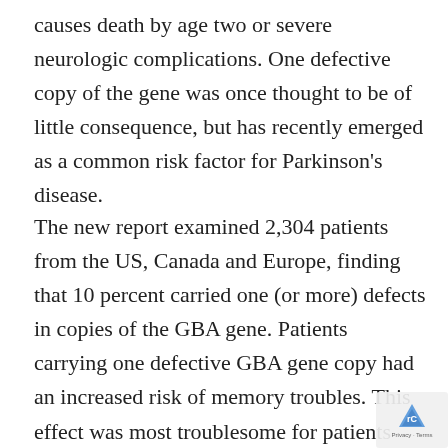causes death by age two or severe neurologic complications. One defective copy of the gene was once thought to be of little consequence, but has recently emerged as a common risk factor for Parkinson's disease.
The new report examined 2,304 patients from the US, Canada and Europe, finding that 10 percent carried one (or more) defects in copies of the GBA gene. Patients carrying one defective GBA gene copy had an increased risk of memory troubles. This effect was most troublesome for patients carrying a GBA copy with the most severe type of defect — known as a neuropathic GBA mutation — whose risk of developing cognitive